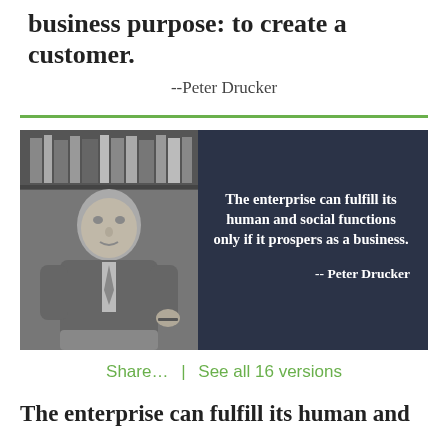business purpose: to create a customer.
--Peter Drucker
[Figure (photo): Dark banner with a black-and-white photo of Peter Drucker on the left and a bold quote on the right: 'The enterprise can fulfill its human and social functions only if it prospers as a business. -- Peter Drucker']
Share...  |  See all 16 versions
The enterprise can fulfill its human and